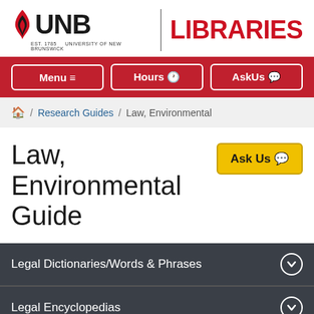[Figure (logo): UNB Libraries logo with flame symbol and red LIBRARIES text]
Menu  Hours  AskUs
Home / Research Guides / Law, Environmental
Law, Environmental Guide
Legal Dictionaries/Words & Phrases
Legal Encyclopedias
Books